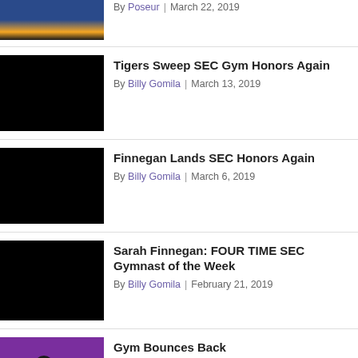[Figure (photo): Partial sports photo at top, cropped]
By Poseur | March 22, 2019
[Figure (photo): Black thumbnail image]
Tigers Sweep SEC Gym Honors Again
By Billy Gomila | March 13, 2019
[Figure (photo): Black thumbnail image]
Finnegan Lands SEC Honors Again
By Billy Gomila | March 6, 2019
[Figure (photo): Black thumbnail image]
Sarah Finnegan: FOUR TIME SEC Gymnast of the Week
By Billy Gomila | February 21, 2019
[Figure (photo): Purple background photo with gymnast]
Gym Bounces Back
By Poseur | February 18, 2019